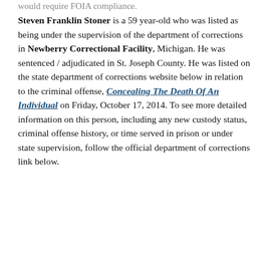would require FOIA compliance.
Steven Franklin Stoner is a 59 year-old who was listed as being under the supervision of the department of corrections in Newberry Correctional Facility, Michigan. He was sentenced / adjudicated in St. Joseph County. He was listed on the state department of corrections website below in relation to the criminal offense, Concealing The Death Of An Individual on Friday, October 17, 2014. To see more detailed information on this person, including any new custody status, criminal offense history, or time served in prison or under state supervision, follow the official department of corrections link below.